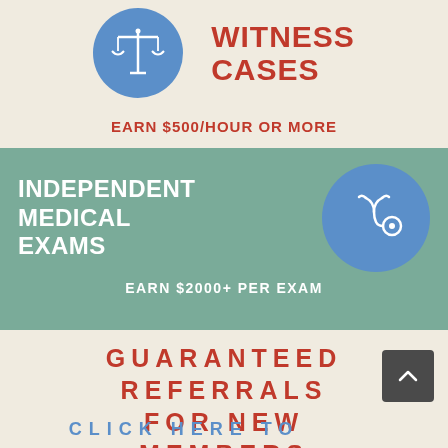[Figure (illustration): Blue circle with white scales of justice icon]
WITNESS CASES
EARN $500/HOUR OR MORE
INDEPENDENT MEDICAL EXAMS
[Figure (illustration): Blue circle with white stethoscope icon]
EARN $2000+ PER EXAM
GUARANTEED REFERRALS FOR NEW MEMBERS
[Figure (illustration): Dark grey scroll-up button with chevron]
CLICK HERE TO